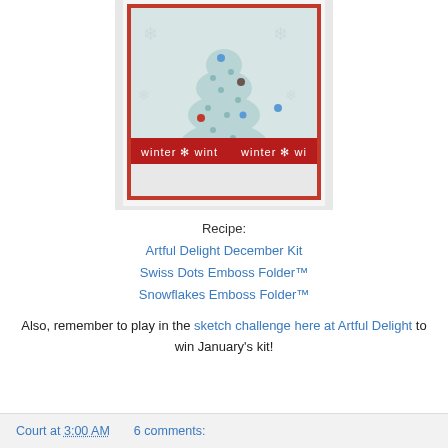[Figure (photo): A handmade Christmas card featuring a light blue polka-dot tree shape on white embossed background with a red 'winter' ribbon banner across the middle.]
Recipe:
Artful Delight December Kit
Swiss Dots Emboss Folder™
Snowflakes Emboss Folder™
Also, remember to play in the sketch challenge here at Artful Delight to win January's kit!
Court at 3:00 AM    6 comments: